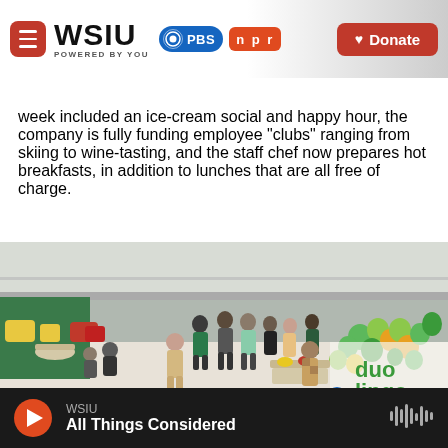WSIU POWERED BY YOU | PBS | npr | Donate
week  included an ice-cream social and happy hour, the company is fully funding employee "clubs" ranging from skiing to wine-tasting, and the staff chef now prepares hot breakfasts, in addition to lunches that are all free of charge.
[Figure (photo): People gathered in a modern open office/atrium space with green, orange and yellow balloons, tables with food, and a Duolingo branded backdrop. People are mingling and eating.]
WSIU | All Things Considered